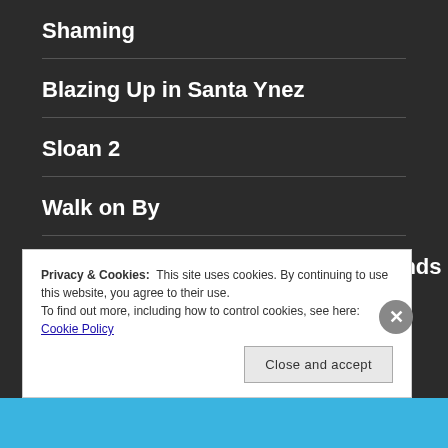Shaming
Blazing Up in Santa Ynez
Sloan 2
Walk on By
The Crêpe Maker With the Dirty Hands
Privacy & Cookies:  This site uses cookies. By continuing to use this website, you agree to their use.
To find out more, including how to control cookies, see here: Cookie Policy
Close and accept